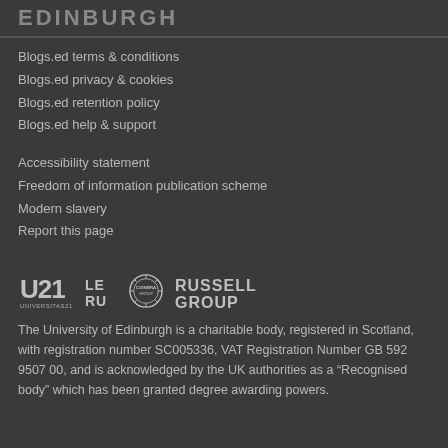EDINBURGH
Blogs.ed terms & conditions
Blogs.ed privacy & cookies
Blogs.ed retention policy
Blogs.ed help & support
Accessibility statement
Freedom of information publication scheme
Modern slavery
Report this page
[Figure (logo): University partner logos: Universitas 21 (U21), League of European Research Universities (LERU), Coimbra Group, and Russell Group]
The University of Edinburgh is a charitable body, registered in Scotland, with registration number SC005336, VAT Registration Number GB 592 9507 00, and is acknowledged by the UK authorities as a “Recognised body” which has been granted degree awarding powers.